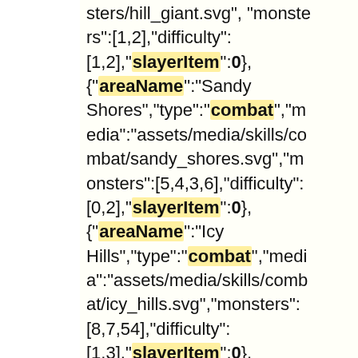sters/hill_giant.svg","monsters":[1,2],"difficulty":[1,2],"slayerItem":0},{"areaName":"Sandy Shores","type":"combat","media":"assets/media/skills/combat/sandy_shores.svg","monsters":[5,4,3,6],"difficulty":[0,2],"slayerItem":0},{"areaName":"Icy Hills","type":"combat","media":"assets/media/skills/combat/icy_hills.svg","monsters":[8,7,54],"difficulty":[1,3],"slayerItem":0},{"areaName":"Golbin Village","type":"combat","media":"assets/media/skills/combat/goblin_village.svg","monsters":[35,36],"difficulty":[0],"slayerItem":0},{"areaName":"G...